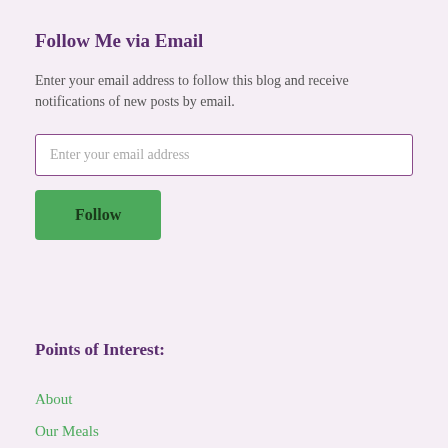Follow Me via Email
Enter your email address to follow this blog and receive notifications of new posts by email.
Enter your email address
Follow
Points of Interest:
About
Our Meals
250pounds2forever